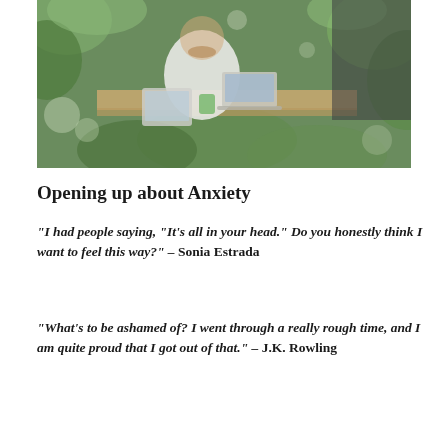[Figure (photo): Photo of a woman sitting outdoors at a table with a laptop and tablet, surrounded by greenery. Another person is partially visible.]
Opening up about Anxiety
“I had people saying, “It’s all in your head.” Do you honestly think I want to feel this way?” – Sonia Estrada
“What’s to be ashamed of? I went through a really rough time, and I am quite proud that I got out of that.” – J.K. Rowling